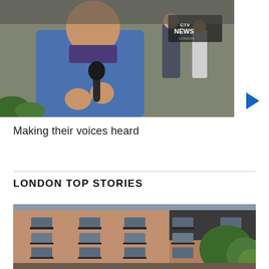[Figure (photo): Video thumbnail showing an older man in a blue jacket being interviewed with a microphone, with CTV News London logo visible in top right, and a group of people in the background near a brick building]
Making their voices heard
LONDON TOP STORIES
[Figure (photo): Exterior photo of a multi-story brick apartment building with balconies, green trees visible on the right side]